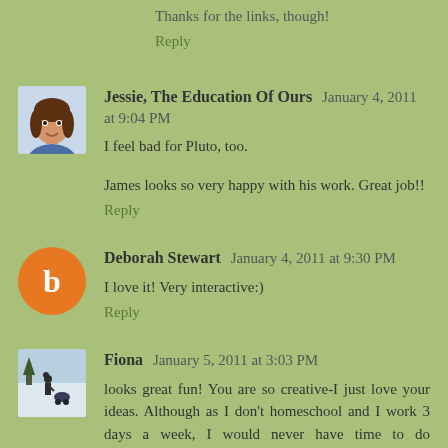Thanks for the links, though!
Reply
Jessie, The Education Of Ours  January 4, 2011 at 9:04 PM
I feel bad for Pluto, too.
James looks so very happy with his work. Great job!!
Reply
Deborah Stewart  January 4, 2011 at 9:30 PM
I love it! Very interactive:)
Reply
Fiona  January 5, 2011 at 3:03 PM
looks great fun! You are so creative-I just love your ideas. Although as I don't homeschool and I work 3 days a week, I would never have time to do everything you do but I find your